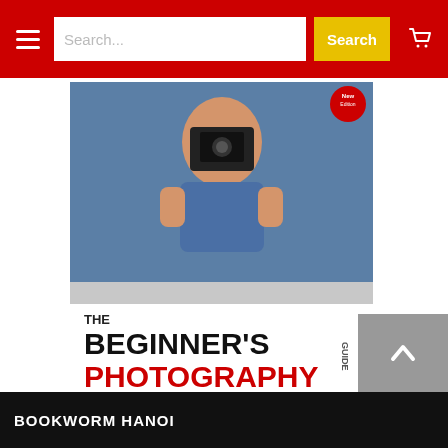[Figure (screenshot): Website header with red background, hamburger menu icon, search bar, Search button in yellow, and cart icon]
[Figure (photo): Book cover of The Beginner's Photography Guide by DK — shows a person holding a camera, with text 'The Beginner's Photography Guide' and photo collage at bottom]
The Beginner's Photography
DK
380.000đ
BOOKWORM HANOI